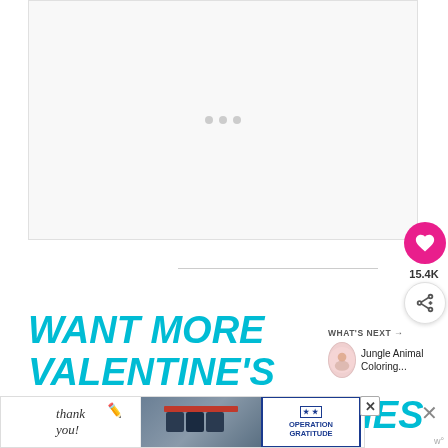[Figure (other): Large content image placeholder with loading dots indicator, white/light grey background]
15.4K
WANT MORE VALENTINE'S DAY GAMES & ACTIVITIES
WHAT'S NEXT → Jungle Animal Coloring...
[Figure (photo): Advertisement banner: Thank you with firefighters photo and Operation Gratitude logo]